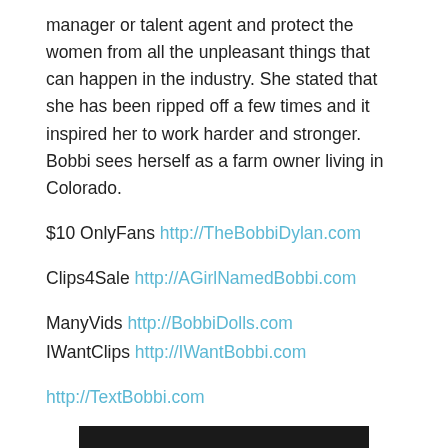manager or talent agent and protect the women from all the unpleasant things that can happen in the industry. She stated that she has been ripped off a few times and it inspired her to work harder and stronger. Bobbi sees herself as a farm owner living in Colorado.
$10 OnlyFans http://TheBobbiDylan.com
Clips4Sale http://AGirlNamedBobbi.com
ManyVids http://BobbiDolls.com
IWantClips http://IWantBobbi.com
http://TextBobbi.com
http://SpoilBobbi.com
[Figure (photo): Dark image strip at the bottom of the page]